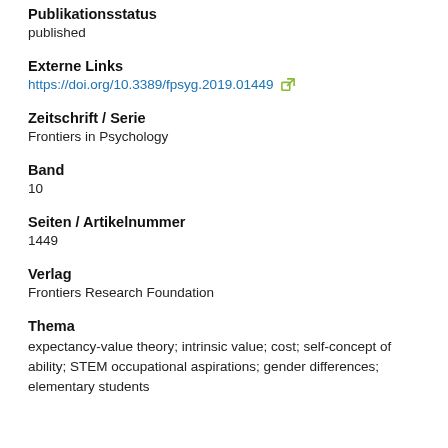Publikationsstatus
published
Externe Links
https://doi.org/10.3389/fpsyg.2019.01449
Zeitschrift / Serie
Frontiers in Psychology
Band
10
Seiten / Artikelnummer
1449
Verlag
Frontiers Research Foundation
Thema
expectancy-value theory; intrinsic value; cost; self-concept of ability; STEM occupational aspirations; gender differences; elementary students